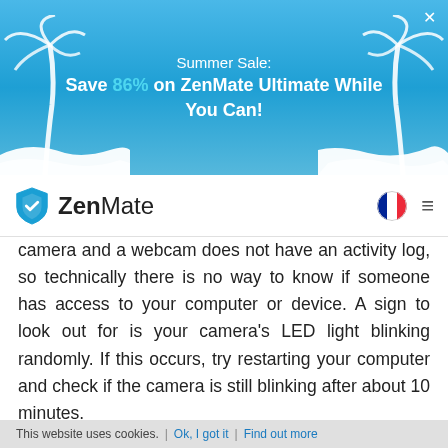[Figure (screenshot): Summer Sale promotional banner for ZenMate VPN with blue gradient background, palm trees on sides, text: 'Summer Sale: Save 86% on ZenMate Ultimate While You Can!']
[Figure (logo): ZenMate VPN logo with shield icon and text 'ZenMate', plus French flag icon and hamburger menu]
camera and a webcam does not have an activity log, so technically there is no way to know if someone has access to your computer or device. A sign to look out for is your camera's LED light blinking randomly. If this occurs, try restarting your computer and check if the camera is still blinking after about 10 minutes.
If it still persists, open the Task Manager and look for winlogon.exe. If you see more than one copy of that program, make sure to disconnect from the internet and run a full system scan with an anti-virus program, because your computer is infected.
This website uses cookies. | Ok, I got it | Find out more